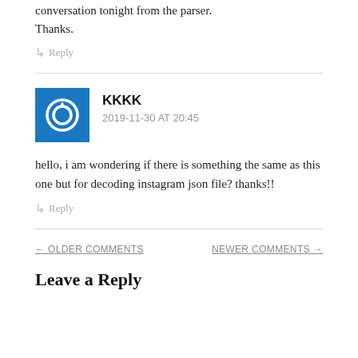conversation tonight from the parser. Thanks.
↳ Reply
KKKK
2019-11-30 AT 20:45
hello, i am wondering if there is something the same as this one but for decoding instagram json file? thanks!!
↳ Reply
← OLDER COMMENTS
NEWER COMMENTS →
Leave a Reply